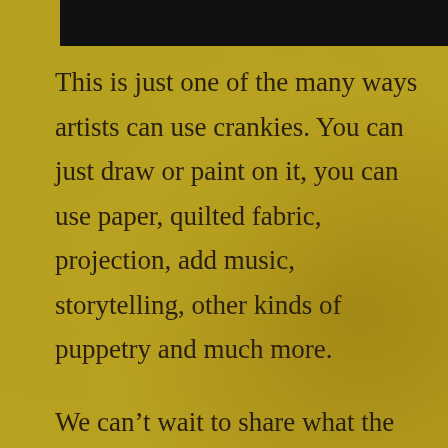[Figure (other): Black rectangular bar at the top of the page]
This is just one of the many ways artists can use crankies. You can just draw or paint on it, you can use paper, quilted fabric, projection, add music, storytelling, other kinds of puppetry and much more.
We can't wait to share what the group of artists we're working with have come up with. Hope you can make it to our cabaret on Nov 3 and 4th of 2017!